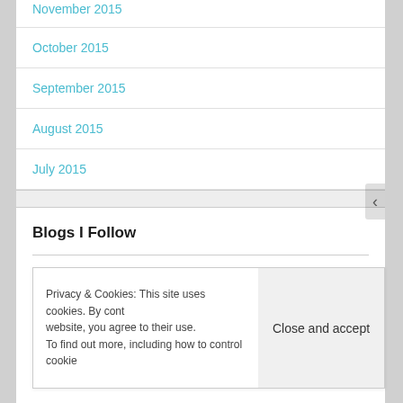November 2015 (truncated at top)
October 2015
September 2015
August 2015
July 2015
Blogs I Follow
Power House CC - Dehumidifiers, Air Conditioners and Air Purifiers
Privacy & Cookies: This site uses cookies. By cont[inuing to use this] website, you agree to their use.
To find out more, including how to control cookie[s,]
Close and accept